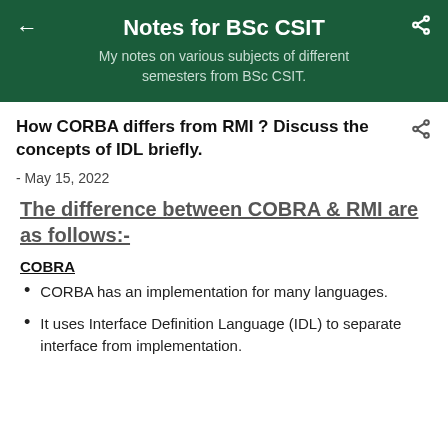Notes for BSc CSIT
My notes on various subjects of different semesters from BSc CSIT.
How CORBA differs from RMI ? Discuss the concepts of IDL briefly.
- May 15, 2022
The difference between COBRA & RMI are as follows:-
COBRA
CORBA has an implementation for many languages.
It uses Interface Definition Language (IDL) to separate interface from implementation.